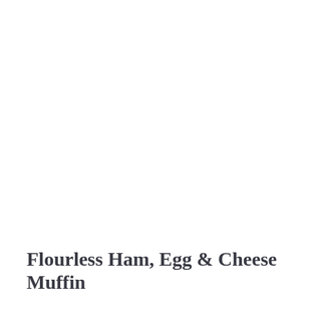Flourless Ham, Egg & Cheese Muffin